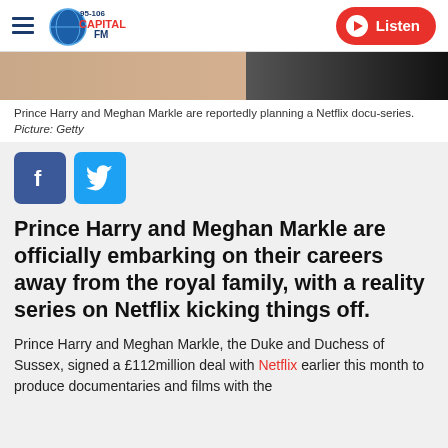95-106 Capital FM | Listen
[Figure (photo): Cropped photo of Prince Harry and Meghan Markle, partial figures visible]
Prince Harry and Meghan Markle are reportedly planning a Netflix docu-series. Picture: Getty
[Figure (other): Facebook and Twitter share buttons]
Prince Harry and Meghan Markle are officially embarking on their careers away from the royal family, with a reality series on Netflix kicking things off.
Prince Harry and Meghan Markle, the Duke and Duchess of Sussex, signed a £112million deal with Netflix earlier this month to produce documentaries and films with the